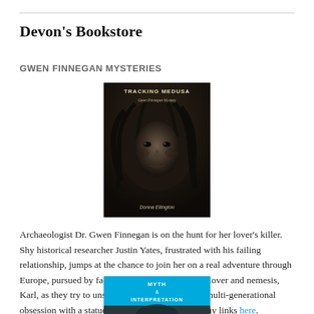Devon's Bookstore
GWEN FINNEGAN MYSTERIES
[Figure (illustration): Book cover for 'Tracking Medusa' by Donna Ellington — dark, moody image of a woman's face with snake-like hair, resembling Medusa. Title 'TRACKING MEDUSA' at top, subtitle 'Gwen Finnegan Mystery', author name 'Donna Ellington' at bottom.]
Archaeologist Dr. Gwen Finnegan is on the hunt for her lover's killer. Shy historical researcher Justin Yates, frustrated with his failing relationship, jumps at the chance to join her on a real adventure through Europe, pursued by factions including Gwen's ex-lover and nemesis, Karl, as they try to unspool fact from fiction in a multi-generational obsession with a statue of the goddess Medusa. Buy links here.
[Figure (illustration): Partial book cover visible at bottom — bright blue background with text 'MYTH & INTERPRETATION' in white, with a dark image beneath partially cut off.]